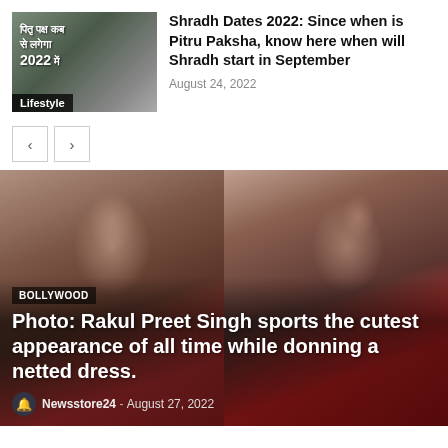[Figure (photo): Thumbnail image of a person performing a ritual near water, with Hindi text overlay reading 'पितृ पक्ष कब से लगेगा 2022 में' and a 'Lifestyle' label at bottom]
Shradh Dates 2022: Since when is Pitru Paksha, know here when will Shradh start in September
August 24, 2022
[Figure (photo): Two side-by-side photos of Bollywood actress Rakul Preet Singh wearing a red outfit, posing for the camera]
BOLLYWOOD
Photo: Rakul Preet Singh sports the cutest appearance of all time while donning a netted dress.
Newsstore24 - August 27, 2022